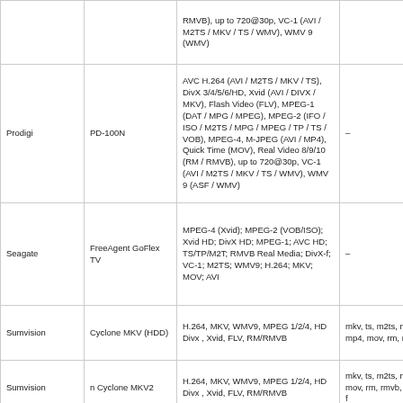| Brand | Model | Video Formats | File Extensions |
| --- | --- | --- | --- |
|  |  | RMVB), up to 720@30p, VC-1 (AVI / M2TS / MKV / TS / WMV), WMV 9 (WMV) |  |
| Prodigi | PD-100N | AVC H.264 (AVI / M2TS / MKV / TS), DivX 3/4/5/6/HD, Xvid (AVI / DIVX / MKV), Flash Video (FLV), MPEG-1 (DAT / MPG / MPEG), MPEG-2 (IFO / ISO / M2TS / MPG / MPEG / TP / TS / VOB), MPEG-4, M-JPEG (AVI / MP4), Quick Time (MOV), Real Video 8/9/10 (RM / RMVB), up to 720@30p, VC-1 (AVI / M2TS / MKV / TS / WMV), WMV 9 (ASF / WMV) | – |
| Seagate | FreeAgent GoFlex TV | MPEG-4 (Xvid); MPEG-2 (VOB/ISO); Xvid HD; DivX HD; MPEG-1; AVC HD; TS/TP/M2T; RMVB Real Media; DivX-f; VC-1; M2TS; WMV9; H.264; MKV; MOV; AVI | – |
| Sumvision | Cyclone MKV (HDD) | H.264, MKV, WMV9, MPEG 1/2/4, HD Divx , Xvid, FLV, RM/RMVB | mkv, ts, m2ts, mts, tp, trp, mp4, mov, rm, rmvb, divx, |
| Sumvision | n Cyclone MKV2 | H.264, MKV, WMV9, MPEG 1/2/4, HD Divx , Xvid, FLV, RM/RMVB | mkv, ts, m2ts, mts, tp, trp, mov, rm, rmvb, divx, xvid, f |
| TerratTec | TerratTec NOXON M520 | MPEG-1, MPEG-2, MPEG-4; Xvid, WMV9, ISO, VOB, IFO, MP4, DAT, MOV, AVI, MKV, H.264, TS, TP, M2TS, FLV | MPEG-1, MPEG-2, MPEG-4, MP4, DAT, MOV, AVI, MKV |